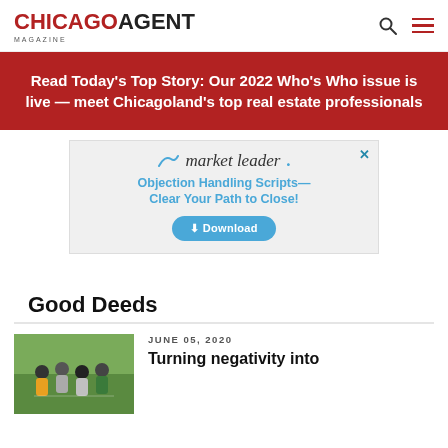CHICAGO AGENT MAGAZINE
Read Today's Top Story: Our 2022 Who's Who issue is live — meet Chicagoland's top real estate professionals
[Figure (advertisement): Market Leader advertisement: Objection Handling Scripts — Clear Your Path to Close! with a Download button]
Good Deeds
JUNE 05, 2020
Turning negativity into